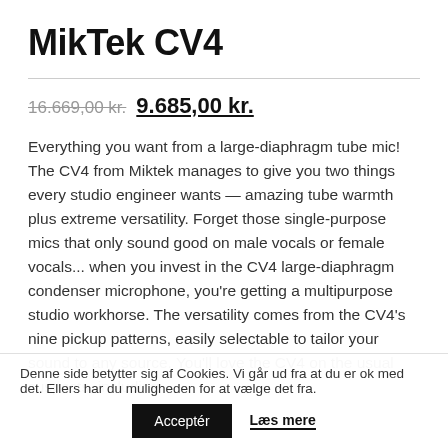MikTek CV4
16.669,00 kr. 9.685,00 kr.
Everything you want from a large-diaphragm tube mic! The CV4 from Miktek manages to give you two things every studio engineer wants — amazing tube warmth plus extreme versatility. Forget those single-purpose mics that only sound good on male vocals or female vocals... when you invest in the CV4 large-diaphragm condenser microphone, you’re getting a multipurpose studio workhorse. The versatility comes from the CV4’s nine pickup patterns, easily selectable to tailor your sound to any source. You’ll love the CV4 on the usual suspects, including
Denne side betytter sig af Cookies. Vi går ud fra at du er ok med det. Ellers har du muligheden for at vælge det fra. Acceptér Læs mere